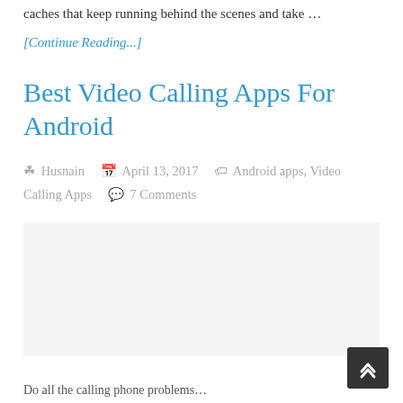caches that keep running behind the scenes and take …
[Continue Reading...]
Best Video Calling Apps For Android
Husnain  April 13, 2017  Android apps, Video Calling Apps  7 Comments
[Figure (other): Blank image placeholder area for article]
Do all the calling phone problems…